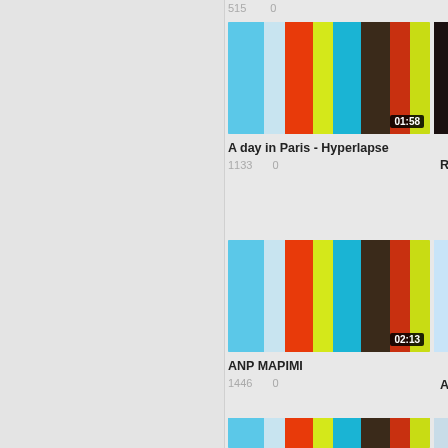515    0
[Figure (screenshot): Video thumbnail with color bars and duration 01:58]
A day in Paris - Hyperlapse
1133    0
[Figure (screenshot): Video thumbnail with color bars and duration 02:13]
ANP MAPIMI
1446    0
Rei
A Q
[Figure (screenshot): Video thumbnail with color bars, partially visible]